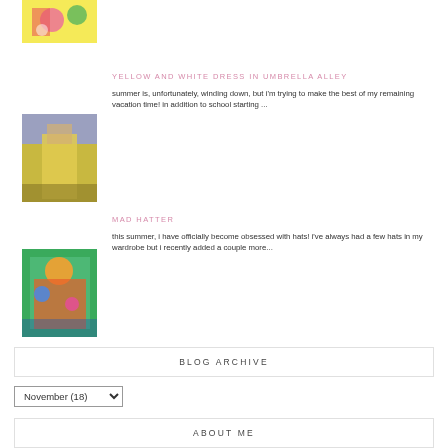[Figure (photo): Partial view of a colorful mural/artwork with figures]
YELLOW AND WHITE DRESS IN UMBRELLA ALLEY
summer is, unfortunately, winding down, but i'm trying to make the best of my remaining vacation time! in addition to school starting ...
[Figure (photo): Person in yellow dress standing in an alley with colorful umbrellas overhead]
MAD HATTER
this summer, i have officially become obsessed with hats! i've always had a few hats in my wardrobe but i recently added a couple more...
[Figure (photo): Person wearing a colorful floral outfit and hat against a green wall]
BLOG ARCHIVE
November (18)
ABOUT ME